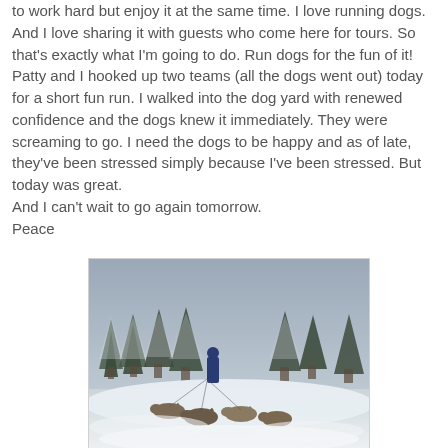to work hard but enjoy it at the same time. I love running dogs. And I love sharing it with guests who come here for tours. So that's exactly what I'm going to do. Run dogs for the fun of it!
Patty and I hooked up two teams (all the dogs went out) today for a short fun run. I walked into the dog yard with renewed confidence and the dogs knew it immediately. They were screaming to go. I need the dogs to be happy and as of late, they've been stressed simply because I've been stressed. But today was great.
And I can't wait to go again tomorrow.
Peace
[Figure (photo): A dog sledding scene in a snowy winter landscape with snow-covered spruce trees in the background. A person dressed in blue stands on the sled while several sled dogs are in the foreground on the snow-covered ground.]